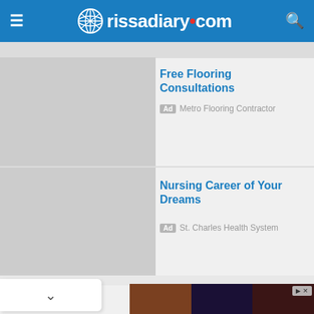rissadiary.com
[Figure (screenshot): Gray placeholder image for first ad (small top bar)]
Free Flooring Consultations
Ad  Metro Flooring Contractor
[Figure (screenshot): Gray placeholder image for second ad]
Nursing Career of Your Dreams
Ad  St. Charles Health System
[Figure (photo): Bottom banner advertisement with three portrait photos of people]